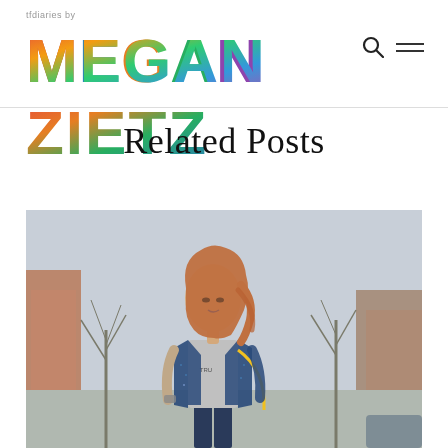tfdiaries by MEGAN ZIETZ
Related Posts
[Figure (photo): Young woman with long reddish-brown wavy hair standing on a street, wearing a blue tweed jacket over a grey graphic t-shirt with a yellow chain bag strap, with bare trees and brick buildings in the background.]